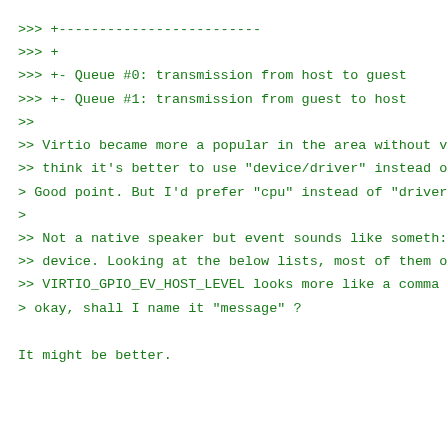>>> +-------------------------
>>> +
>>> +- Queue #0: transmission from host to guest
>>> +- Queue #1: transmission from guest to host
>>
>> Virtio became more a popular in the area without v
>> think it's better to use "device/driver" instead o
> Good point. But I'd prefer "cpu" instead of "driver
>
>> Not a native speaker but event sounds like someth:
>> device. Looking at the below lists, most of them o
>> VIRTIO_GPIO_EV_HOST_LEVEL looks more like a comma
> okay, shall I name it "message" ?
It might be better.